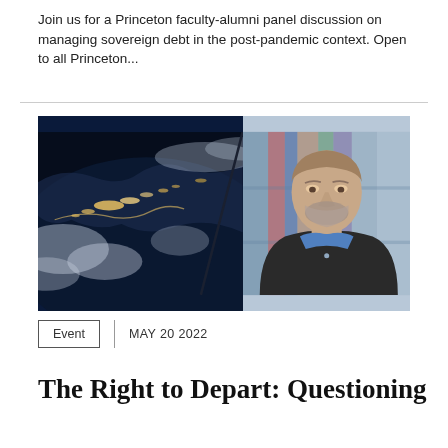Join us for a Princeton faculty-alumni panel discussion on managing sovereign debt in the post-pandemic context. Open to all Princeton...
[Figure (photo): Composite image: left half shows Earth from space at night with city lights visible along coastlines and cloud cover; right half shows a middle-aged man with short gray-brown beard, wearing a blue shirt and dark blazer, standing in front of blurred bookshelves.]
Event   MAY 20 2022
The Right to Depart: Questioning